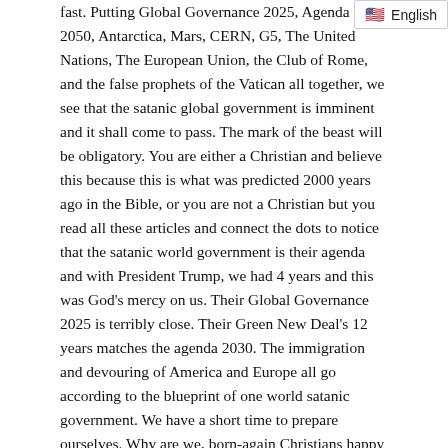fast. Putting Global Governance 2025, Agenda 2050, Antarctica, Mars, CERN, G5, The United Nations, The European Union, the Club of Rome, and the false prophets of the Vatican all together, we see that the satanic global government is imminent and it shall come to pass. The mark of the beast will be obligatory. You are either a Christian and believe this because this is what was predicted 2000 years ago in the Bible, or you are not a Christian but you read all these articles and connect the dots to notice that the satanic world government is their agenda and with President Trump, we had 4 years and this was God's mercy on us. Their Global Governance 2025 is terribly close. Their Green New Deal's 12 years matches the agenda 2030. The immigration and devouring of America and Europe all go according to the blueprint of one world satanic government. We have a short time to prepare ourselves. Why are we, born-again Christians happy and calm? Why do we joyfully dedicate ourselves to the nation, knowing that we will be chased and prosecuted for NOT taking the mark of the beast? Because we are dedicated to the Kingdom. "Your